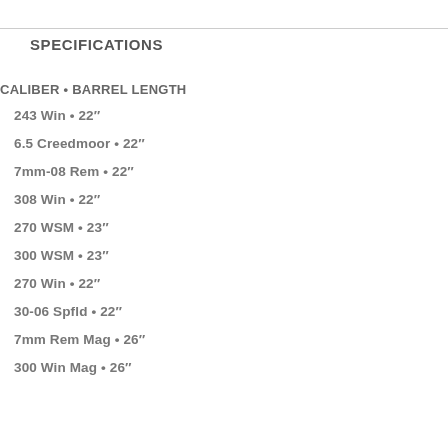SPECIFICATIONS
CALIBER • BARREL LENGTH
243 Win • 22"
6.5 Creedmoor • 22"
7mm-08 Rem • 22"
308 Win • 22"
270 WSM • 23"
300 WSM • 23"
270 Win • 22"
30-06 Spfld • 22"
7mm Rem Mag • 26"
300 Win Mag • 26"